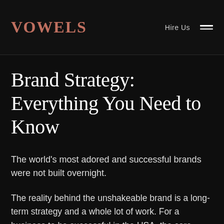VOWELS   Hire Us
Brand Strategy: Everything You Need to Know
The world's most adored and successful brands were not built overnight.
The reality behind the unshakeable brand is a long-term strategy and a whole lot of work. For a business to be successful in the USA, the core team might need help from a branding agency in USA.